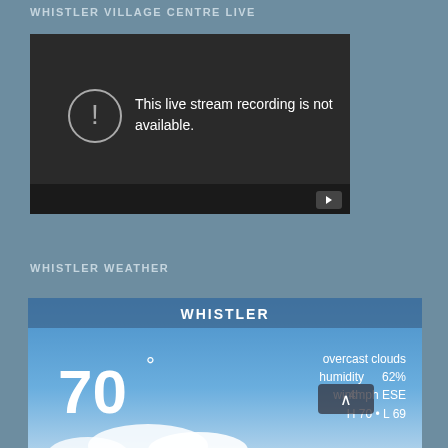WHISTLER VILLAGE CENTRE LIVE
[Figure (screenshot): Embedded video player showing error message: 'This live stream recording is not available.' with a circle exclamation icon and YouTube play button.]
WHISTLER WEATHER
[Figure (screenshot): Weather widget showing Whistler weather: 70 degrees, overcast clouds, humidity 62%, wind 4mph ESE, H 70 L 69]